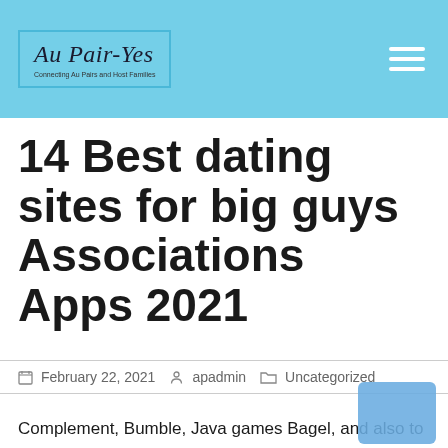Au Pair-Yes — Connecting Au Pairs and Host Families
14 Best dating sites for big guys Associations Apps 2021
February 22, 2021   apadmin   Uncategorized
Complement, Bumble, Java games Bagel, and also to Tinder every single had gotten the best 28% discuss. Isn't it time to place your focus in the marketplace so to